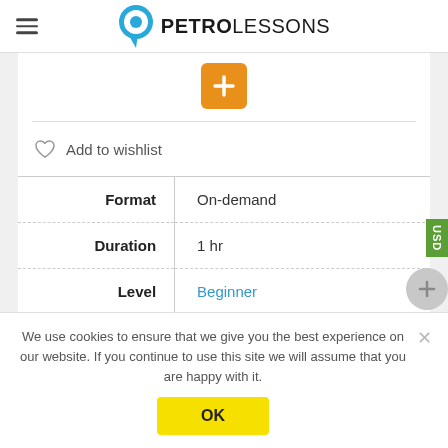PETROLESSONS
[Figure (illustration): Orange plus/add button]
Add to wishlist
|  |  |
| --- | --- |
| Format | On-demand |
| Duration | 1 hr |
| Level | Beginner |
We use cookies to ensure that we give you the best experience on our website. If you continue to use this site we will assume that you are happy with it.
OK